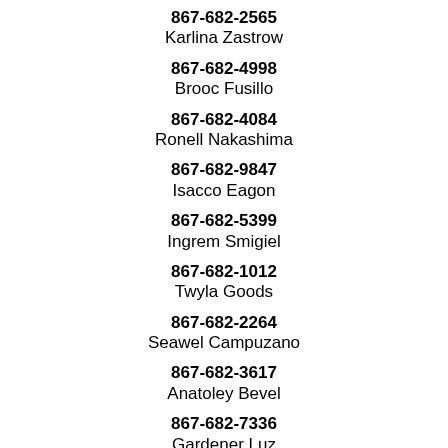867-682-2565
Karlina Zastrow
867-682-4998
Brooc Fusillo
867-682-4084
Ronell Nakashima
867-682-9847
Isacco Eagon
867-682-5399
Ingrem Smigiel
867-682-1012
Twyla Goods
867-682-2264
Seawel Campuzano
867-682-3617
Anatoley Bevel
867-682-7336
Gardener Luz